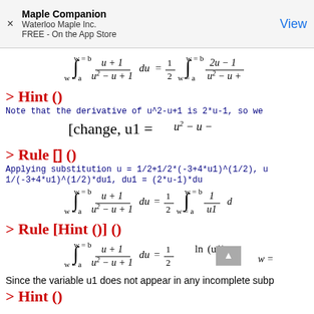Maple Companion
Waterloo Maple Inc.
FREE - On the App Store
View
> Hint ()
Note that the derivative of u^2-u+1 is 2*u-1, so we
> Rule [] ()
Applying substitution u = 1/2+1/2*(-3+4*u1)^(1/2), u
1/(-3+4*u1)^(1/2)*du1, du1 = (2*u-1)*du
> Rule [Hint ()] ()
Since the variable u1 does not appear in any incomplete subp
> Hint ()